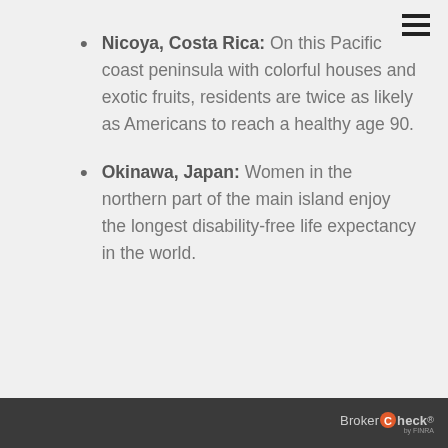Nicoya, Costa Rica: On this Pacific coast peninsula with colorful houses and exotic fruits, residents are twice as likely as Americans to reach a healthy age 90.
Okinawa, Japan: Women in the northern part of the main island enjoy the longest disability-free life expectancy in the world.
BrokerCheck